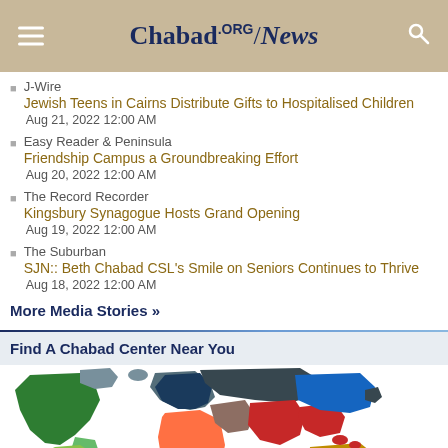Chabad.org/News
J-Wire
Jewish Teens in Cairns Distribute Gifts to Hospitalised Children
Aug 21, 2022 12:00 AM
Easy Reader & Peninsula
Friendship Campus a Groundbreaking Effort
Aug 20, 2022 12:00 AM
The Record Recorder
Kingsbury Synagogue Hosts Grand Opening
Aug 19, 2022 12:00 AM
The Suburban
SJN:: Beth Chabad CSL's Smile on Seniors Continues to Thrive
Aug 18, 2022 12:00 AM
More Media Stories »
Find A Chabad Center Near You
[Figure (map): Colorful world map showing continents in different colors: Americas in green and light green, Europe/Africa in dark teal/gray/orange/red, Asia in dark blue and red, Australia in orange-brown]